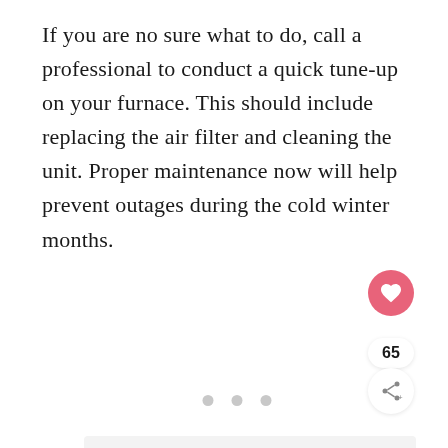If you are no sure what to do, call a professional to conduct a quick tune-up on your furnace. This should include replacing the air filter and cleaning the unit. Proper maintenance now will help prevent outages during the cold winter months.
[Figure (other): Light gray placeholder image box with three dots at the bottom indicating a carousel or slideshow, and UI buttons (heart/like button with pink background, a count badge showing 65, and a share button) on the right side.]